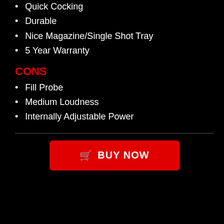Quick Cocking
Durable
Nice Magazine/Single Shot Tray
5 Year Warranty
CONS
Fill Probe
Medium Loudness
Internally Adjustable Power
BUY NOW